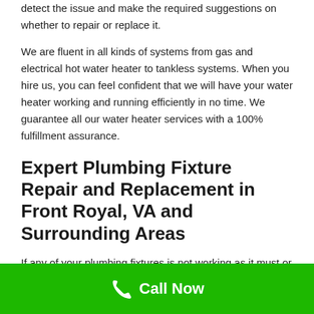detect the issue and make the required suggestions on whether to repair or replace it.
We are fluent in all kinds of systems from gas and electrical hot water heater to tankless systems. When you hire us, you can feel confident that we will have your water heater working and running efficiently in no time. We guarantee all our water heater services with a 100% fulfillment assurance.
Expert Plumbing Fixture Repair and Replacement in Front Royal, VA and Surrounding Areas
If any of your plumbing fixtures is not working as it must or you wish to update to a modern-day, more efficient choice, Screaming
Call Now